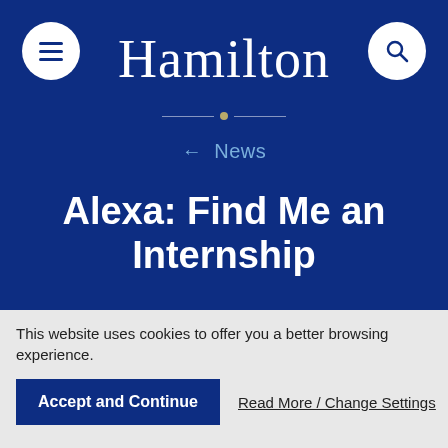Hamilton
← News
Alexa: Find Me an Internship
by Evan Robinson '23
July 27, 2021
This website uses cookies to offer you a better browsing experience.
Accept and Continue
Read More / Change Settings